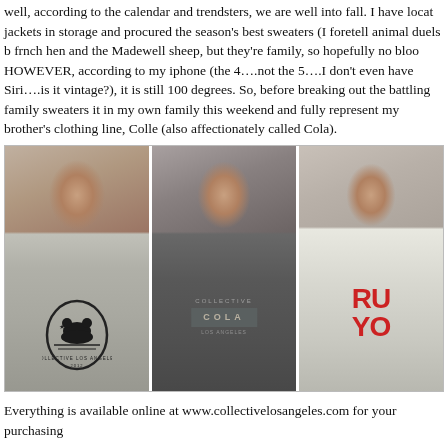well, according to the calendar and trendsters, we are well into fall. I have located jackets in storage and procured the season's best sweaters (I foretell animal duels b frnch hen and the Madewell sheep, but they're family, so hopefully no bloo HOWEVER, according to my iphone (the 4….not the 5….I don't even have Siri….is it vintage?), it is still 100 degrees. So, before breaking out the battling family sweaters it in my own family this weekend and fully represent my brother's clothing line, Colle (also affectionately called Cola).
[Figure (photo): Three photos of a woman wearing different Collective Los Angeles branded shirts: left panel shows a grey tank top with a bear/shield logo reading 'Collective Los Angeles 2012', center panel shows a dark grey t-shirt with 'COLA' label, right panel shows a white t-shirt with red graphic text partially visible.]
Everything is available online at www.collectivelosangeles.com for your purchasing